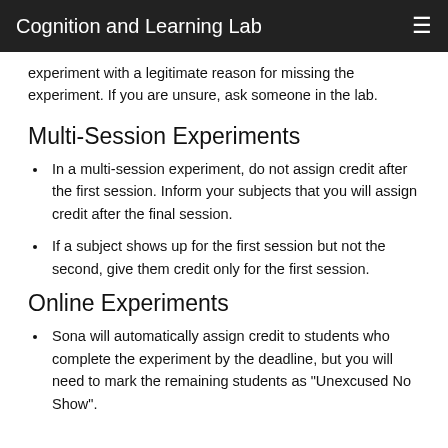Cognition and Learning Lab
experiment with a legitimate reason for missing the experiment. If you are unsure, ask someone in the lab.
Multi-Session Experiments
In a multi-session experiment, do not assign credit after the first session. Inform your subjects that you will assign credit after the final session.
If a subject shows up for the first session but not the second, give them credit only for the first session.
Online Experiments
Sona will automatically assign credit to students who complete the experiment by the deadline, but you will need to mark the remaining students as "Unexcused No Show".